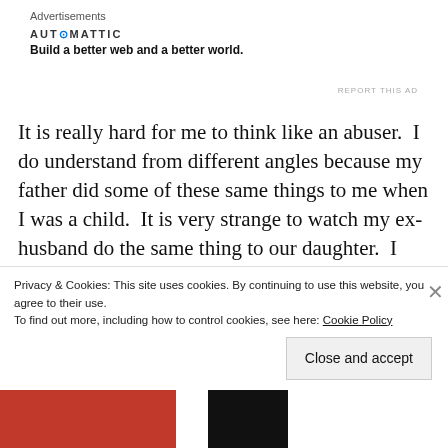Advertisements
[Figure (other): Automattic advertisement: logo text 'AUTOMATTIC' with circular icon, tagline 'Build a better web and a better world.']
REPORT THIS AD
It is really hard for me to think like an abuser.  I do understand from different angles because my father did some of these same things to me when I was a child.  It is very strange to watch my ex-husband do the same thing to our daughter.  I only know my father admits he purposely tried to cause problems between my mother and I.  He admits today he was wrong
Privacy & Cookies: This site uses cookies. By continuing to use this website, you agree to their use.
To find out more, including how to control cookies, see here: Cookie Policy
Close and accept